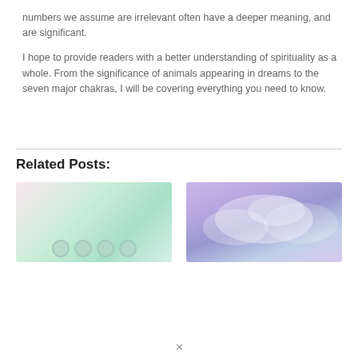numbers we assume are irrelevant often have a deeper meaning, and are significant.
I hope to provide readers with a better understanding of spirituality as a whole. From the significance of animals appearing in dreams to the seven major chakras, I will be covering everything you need to know.
Related Posts:
[Figure (illustration): Soft pastel gradient image with pink, mint green and teal tones, showing circular icon shapes at the bottom]
[Figure (photo): Purple and blue cloudy sky photo with soft pink and lavender tones]